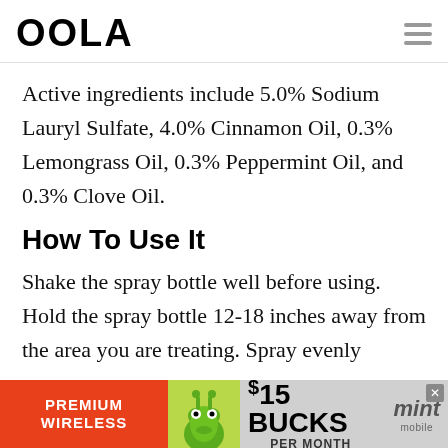OOLA
Active ingredients include 5.0% Sodium Lauryl Sulfate, 4.0% Cinnamon Oil, 0.3% Lemongrass Oil, 0.3% Peppermint Oil, and 0.3% Clove Oil.
How To Use It
Shake the spray bottle well before using. Hold the spray bottle 12-18 inches away from the area you are treating. Spray evenly
[Figure (infographic): Mint Mobile advertisement banner: PREMIUM WIRELESS, $15 BUCKS PER MONTH with gecko mascot image]